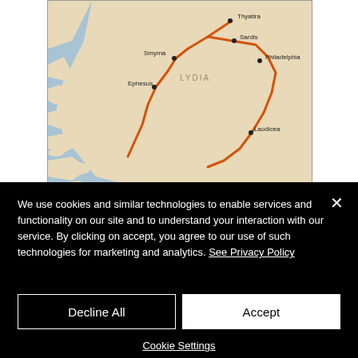[Figure (map): Map of ancient region of Lydia showing cities Thyatira, Sardis, Philadelphia, Smyrna, Ephesus, and Laodicea connected by an orange route line. Beige land and blue-gray water bodies.]
image provided by Logos Bible Software
The letter to the church at Philadelphia is dominated by the
We use cookies and similar technologies to enable services and functionality on our site and to understand your interaction with our service. By clicking on accept, you agree to our use of such technologies for marketing and analytics. See Privacy Policy
Decline All
Accept
Cookie Settings